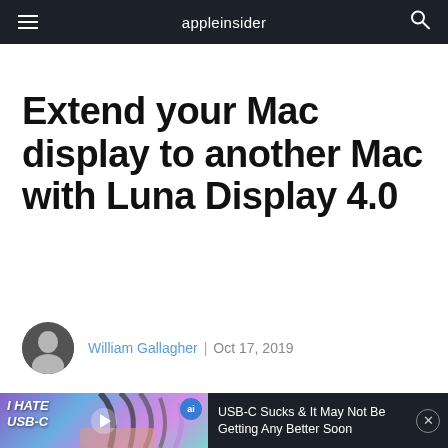appleinsider
Extend your Mac display to another Mac with Luna Display 4.0
William Gallagher | Oct 17, 2019
[Figure (screenshot): Video thumbnail for 'USB-C Sucks & It May Not Be Getting Any Better Soon' with text 'I HATE USB-C' overlaid on a colorful gradient background with USB-C cables, and the AppleInsider ai badge]
USB-C Sucks & It May Not Be Getting Any Better Soon